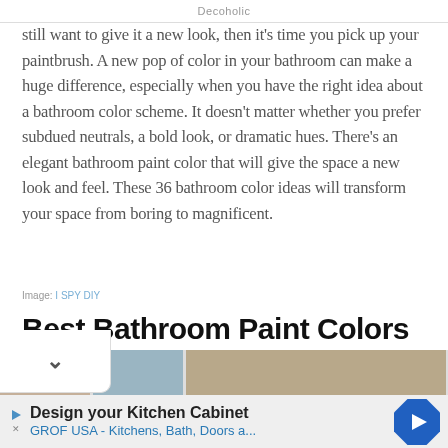Decoholic
still want to give it a new look, then it's time you pick up your paintbrush. A new pop of color in your bathroom can make a huge difference, especially when you have the right idea about a bathroom color scheme. It doesn't matter whether you prefer subdued neutrals, a bold look, or dramatic hues. There's an elegant bathroom paint color that will give the space a new look and feel. These 36 bathroom color ideas will transform your space from boring to magnificent.
Image: I SPY DIY
Best Bathroom Paint Colors
[Figure (photo): Row of bathroom thumbnail images partially visible]
[Figure (infographic): Advertisement banner: Design your Kitchen Cabinet - GROF USA - Kitchens, Bath, Doors a...]